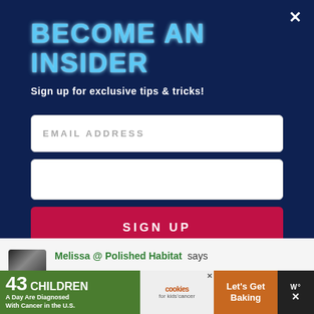BECOME AN INSIDER
Sign up for exclusive tips & tricks!
EMAIL ADDRESS
SIGN UP
Melissa @ Polished Habitat says
[Figure (infographic): Advertisement banner: 43 CHILDREN A Day Are Diagnosed With Cancer in the U.S. - cookies for kids cancer - Let's Get Baking]